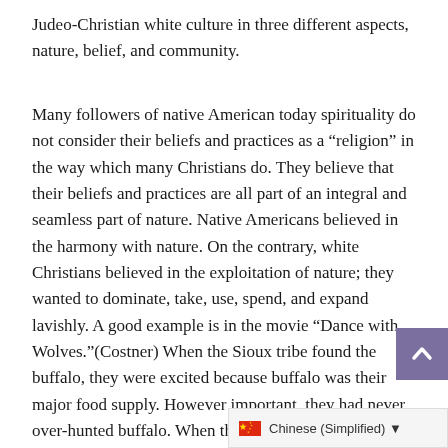Judeo-Christian white culture in three different aspects, nature, belief, and community.
Many followers of native American today spirituality do not consider their beliefs and practices as a “religion” in the way which many Christians do. They believe that their beliefs and practices are all part of an integral and seamless part of nature. Native Americans believed in the harmony with nature. On the contrary, white Christians believed in the exploitation of nature; they wanted to dominate, take, use, spend, and expand lavishly. A good example is in the movie “Dance with Wolves.”(Costner) When the Sioux tribe found the buffalo, they were excited because buffalo was their major food supply. However important, they had never over-hunted buffalo. When the white people came in, they killed hundreds of buffalo just for fun. The Indians, even Lieutenant Dunbar (“Dance with Wolves”), were astonished. They were so depressed seeing the dead bodies of the buffalo. The white hunters had violated what they ha
[Figure (other): Scroll-to-top button (purple arrow up) and language selector bar showing Chinese (Simplified) with flag]